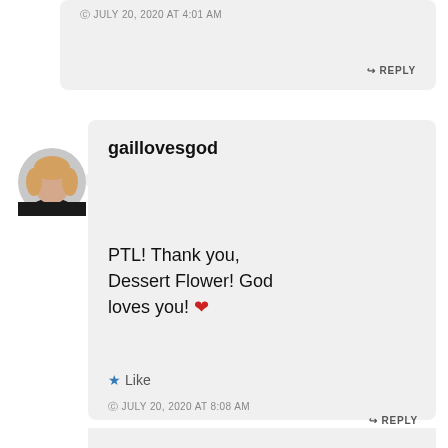JULY 20, 2020 AT 4:01 AM
REPLY
[Figure (photo): Circular avatar photo of a woman with blonde hair wearing a dark top, shown from shoulders up]
gaillovesgod
PTL! Thank you, Dessert Flower! God loves you! ❤
★ Like
JULY 20, 2020 AT 8:08 AM
REPLY